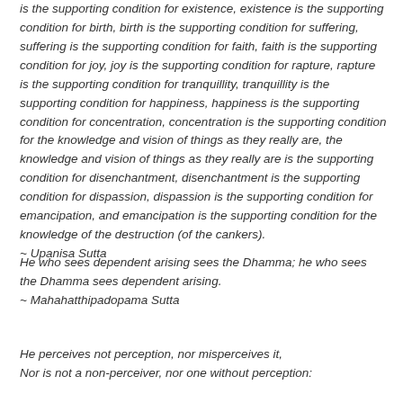is the supporting condition for existence, existence is the supporting condition for birth, birth is the supporting condition for suffering, suffering is the supporting condition for faith, faith is the supporting condition for joy, joy is the supporting condition for rapture, rapture is the supporting condition for tranquillity, tranquillity is the supporting condition for happiness, happiness is the supporting condition for concentration, concentration is the supporting condition for the knowledge and vision of things as they really are, the knowledge and vision of things as they really are is the supporting condition for disenchantment, disenchantment is the supporting condition for dispassion, dispassion is the supporting condition for emancipation, and emancipation is the supporting condition for the knowledge of the destruction (of the cankers).
~ Upanisa Sutta
He who sees dependent arising sees the Dhamma; he who sees the Dhamma sees dependent arising.
~ Mahahatthipadopama Sutta
He perceives not perception, nor misperceives it,
Nor is not a non-perceiver, nor one without perception: